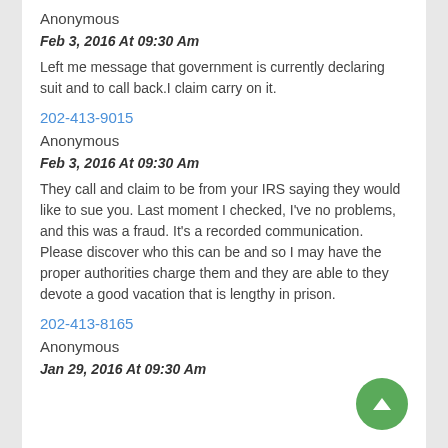Anonymous
Feb 3, 2016 At 09:30 Am
Left me message that government is currently declaring suit and to call back.I claim carry on it.
202-413-9015
Anonymous
Feb 3, 2016 At 09:30 Am
They call and claim to be from your IRS saying they would like to sue you. Last moment I checked, I've no problems, and this was a fraud. It's a recorded communication. Please discover who this can be and so I may have the proper authorities charge them and they are able to they devote a good vacation that is lengthy in prison.
202-413-8165
Anonymous
Jan 29, 2016 At 09:30 Am